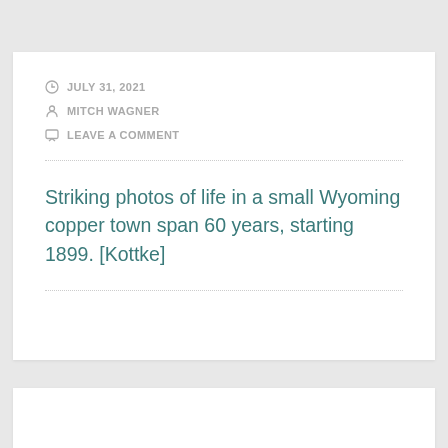JULY 31, 2021
MITCH WAGNER
LEAVE A COMMENT
Striking photos of life in a small Wyoming copper town span 60 years, starting 1899. [Kottke]